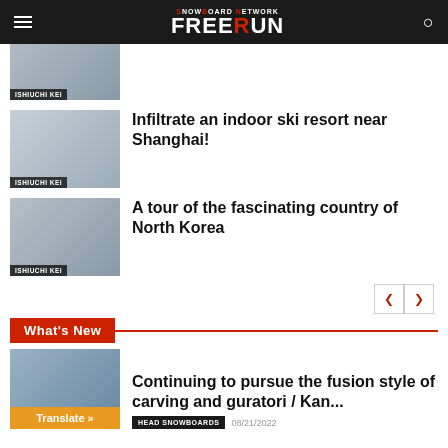SNOWBOARD NETWORK FREERUN
[Figure (photo): Partially cropped thumbnail image with label ISHIUCHI KEI]
[Figure (photo): Indoor ski resort near Shanghai thumbnail with label ISHIUCHI KEI]
Infiltrate an indoor ski resort near Shanghai!
[Figure (photo): North Korea tour thumbnail with label ISHIUCHI KEI]
A tour of the fascinating country of North Korea
< >
What's New
[Figure (photo): Carving and guratori article thumbnail with Translate button]
Continuing to pursue the fusion style of carving and guratori / Kan...
HEAD SNOWBOARDS  08/21/2022